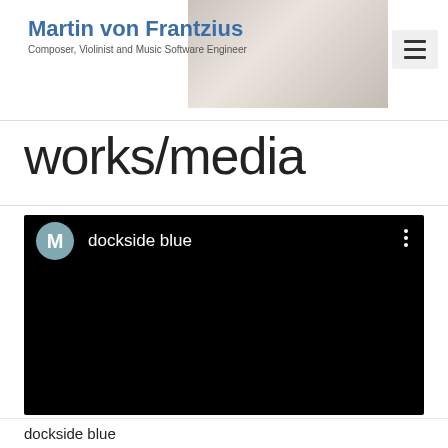Martin von Frantzius — Composer, Violinist and Music Software Engineer
works/media
[Figure (screenshot): Embedded video player with black background, avatar circle with letter M, title 'dockside blue', and three-dot menu icon]
dockside blue